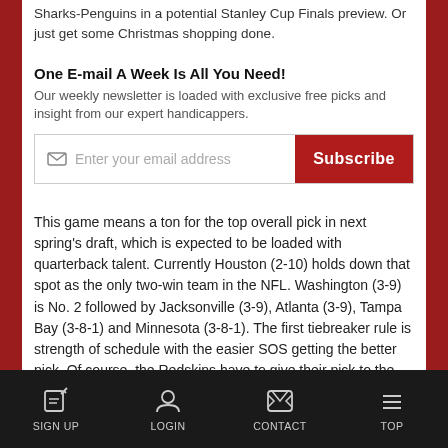Sharks-Penguins in a potential Stanley Cup Finals preview. Or just get some Christmas shopping done.
One E-mail A Week Is All You Need!
Our weekly newsletter is loaded with exclusive free picks and insight from our expert handicappers.
Enter your email address | Subscribe
This game means a ton for the top overall pick in next spring's draft, which is expected to be loaded with quarterback talent. Currently Houston (2-10) holds down that spot as the only two-win team in the NFL. Washington (3-9) is No. 2 followed by Jacksonville (3-9), Atlanta (3-9), Tampa Bay (3-8-1) and Minnesota (3-8-1). The first tiebreaker rule is strength of schedule with the easier SOS getting the better pick. Of course, the Redskins have to give their pick to the Rams, who
SIGN UP | LOGIN | CONTACT | TOP